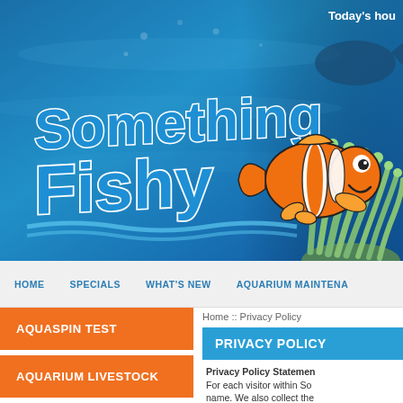[Figure (illustration): Something Fishy aquarium store website header with animated clownfish logo on blue underwater background with coral/anemone visible on right side]
Today's hou
HOME    SPECIALS    WHAT'S NEW    AQUARIUM MAINTENA
AQUASPIN TEST
AQUARIUM LIVESTOCK
FISH
Home :: Privacy Policy
PRIVACY POLICY
Privacy Policy Statement For each visitor within So name. We also collect the information on what page information and/or site...